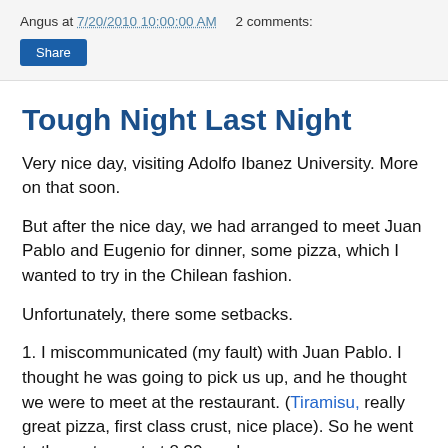Angus at 7/20/2010 10:00:00 AM   2 comments:
Share
Tough Night Last Night
Very nice day, visiting Adolfo Ibanez University. More on that soon.
But after the nice day, we had arranged to meet Juan Pablo and Eugenio for dinner, some pizza, which I wanted to try in the Chilean fashion.
Unfortunately, there some setbacks.
1. I miscommunicated (my fault) with Juan Pablo. I thought he was going to pick us up, and he thought we were to meet at the restaurant. (Tiramisu, really great pizza, first class crust, nice place). So he went to the restaurant at 8:30, and